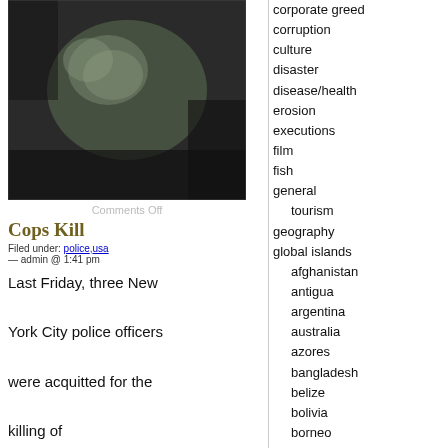[Figure (photo): Black and white halftone photograph of a person lying down, dark tones.]
Comments Off
Cops Kill
Filed under: police,usa
— admin @ 1:41 pm
Last Friday, three New York City police officers were acquitted for the killing of 23-year old Sean Bell, early in the morning on
corporate greed
corruption
culture
disaster
disease/health
erosion
executions
film
fish
general
tourism
geography
global islands
afghanistan
antigua
argentina
australia
azores
bangladesh
belize
bolivia
borneo
brazil
burma
canada
canary islands
cape verde
caribbean
cascadia
chile
china
cnmi
columbia